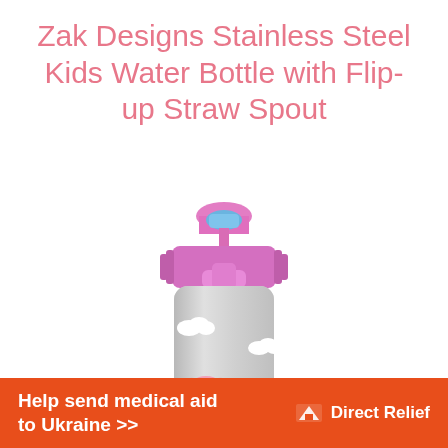Zak Designs Stainless Steel Kids Water Bottle with Flip-up Straw Spout
[Figure (photo): A stainless steel kids water bottle with a pink flip-up straw spout and cap. The bottle features Peppa Pig and friends characters printed on the metallic body along with white cloud designs.]
Help send medical aid to Ukraine >> Direct Relief